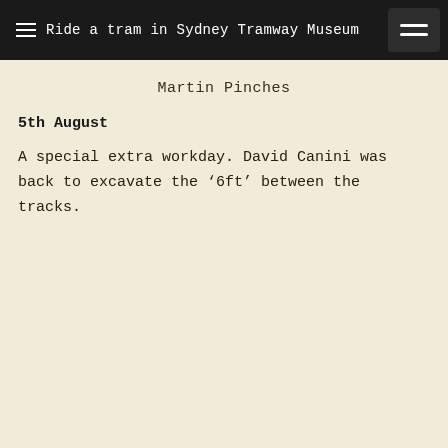≡  Ride a tram in Sydney Tramway Museum
Martin Pinches
5th August
A special extra workday. David Canini was back to excavate the '6ft' between the tracks.